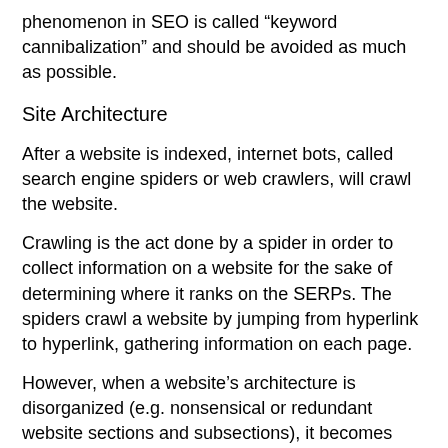phenomenon in SEO is called “keyword cannibalization” and should be avoided as much as possible.
Site Architecture
After a website is indexed, internet bots, called search engine spiders or web crawlers, will crawl the website.
Crawling is the act done by a spider in order to collect information on a website for the sake of determining where it ranks on the SERPs. The spiders crawl a website by jumping from hyperlink to hyperlink, gathering information on each page.
However, when a website’s architecture is disorganized (e.g. nonsensical or redundant website sections and subsections), it becomes difficult for a spider to crawl a website. Other than that, it also makes for a poor user experience.
Internal Linking
Generally, when a user navigates through a website, they should be able to go from a specific section of the website to another without issues. This can also aid in linking to